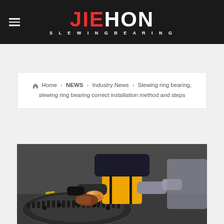JIEHON SLEWING BEARING
Home › NEWS › Industry News › Slewing ring bearing, slewing ring bearing correct installation method and steps
[Figure (photo): Worker applying grease/lubricant to a large slewing ring gear bearing with gloved hands]